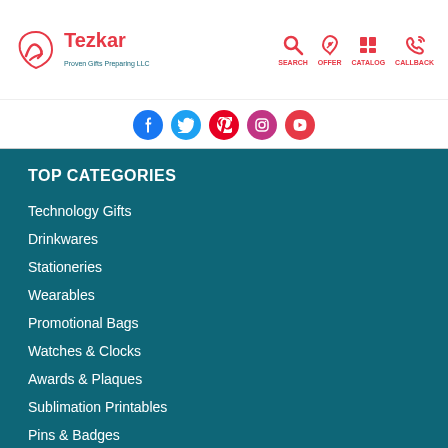Tezkar - Proven Gifts Preparing LLC - SEARCH OFFER CATALOG CALLBACK
[Figure (logo): Tezkar logo with Arabic script and text 'Proven Gifts Preparing LLC' with navigation icons: SEARCH, OFFER, CATALOG, CALLBACK]
[Figure (infographic): Social media icons row: Facebook, Twitter, Pinterest, Instagram, YouTube]
TOP CATEGORIES
Technology Gifts
Drinkwares
Stationeries
Wearables
Promotional Bags
Watches & Clocks
Awards & Plaques
Sublimation Printables
Pins & Badges